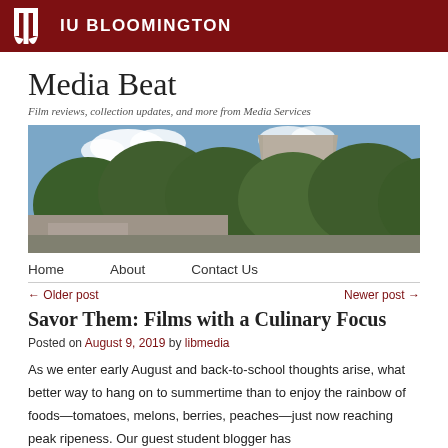IU BLOOMINGTON
Media Beat
Film reviews, collection updates, and more from Media Services
[Figure (photo): Outdoor photo of trees with a building structure visible in the background under a partly cloudy sky.]
Home   About   Contact Us
← Older post   Newer post →
Savor Them: Films with a Culinary Focus
Posted on August 9, 2019 by libmedia
As we enter early August and back-to-school thoughts arise, what better way to hang on to summertime than to enjoy the rainbow of foods—tomatoes, melons, berries, peaches—just now reaching peak ripeness. Our guest student blogger has